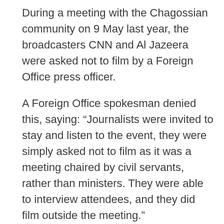During a meeting with the Chagossian community on 9 May last year, the broadcasters CNN and Al Jazeera were asked not to film by a Foreign Office press officer.
A Foreign Office spokesman denied this, saying: “Journalists were invited to stay and listen to the event, they were simply asked not to film as it was a meeting chaired by civil servants, rather than ministers. They were able to interview attendees, and they did film outside the meeting.”
A spokesperson for Crawley borough council said: “We refute allegations that our staff are aggressive or suggest that people should ‘go back’. These statements do not represent the council’s values. We endeavour to deliver the highest standards and these allegations do not